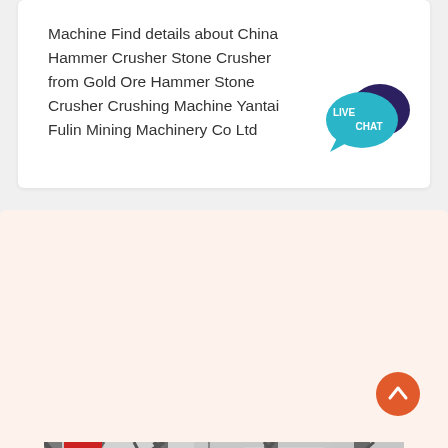Machine Find details about China Hammer Crusher Stone Crusher from Gold Ore Hammer Stone Crusher Crushing Machine Yantai Fulin Mining Machinery Co Ltd
[Figure (other): Live Chat speech bubble icon in teal and dark navy colors with text LIVE CHAT]
[Figure (photo): Interior of a large industrial mining facility showing steel structural framework, conveyor belts, and heavy machinery in a grey and black color scheme]
[Figure (other): Orange circular scroll-to-top button with upward arrow]